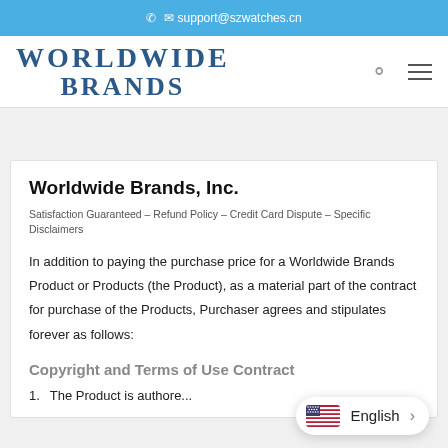support@szwatches.cn
[Figure (logo): Worldwide Brands logo with text WORLDWIDE BRANDS in blue serif font, with search and menu icons]
Worldwide Brands, Inc.
Satisfaction Guaranteed – Refund Policy – Credit Card Dispute – Specific Disclaimers
In addition to paying the purchase price for a Worldwide Brands Product or Products (the Product), as a material part of the contract for purchase of the Products, Purchaser agrees and stipulates forever as follows:
Copyright and Terms of Use Contract
1. The Product is authore...